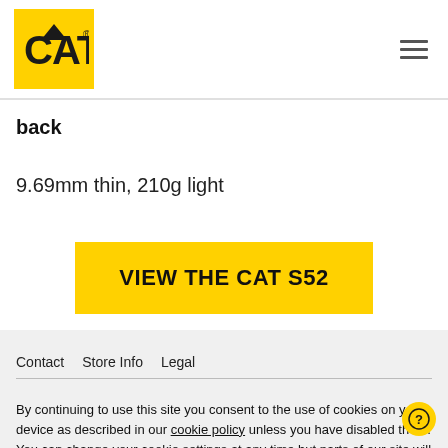[Figure (logo): CAT logo on yellow background in top-left header]
back
9.69mm thin, 210g light
VIEW THE CAT S52
Contact   Store Info   Legal
By continuing to use this site you consent to the use of cookies on your device as described in our cookie policy unless you have disabled them. You can change your cookie settings at any time but parts of our site will not function correctly without them.
Ok